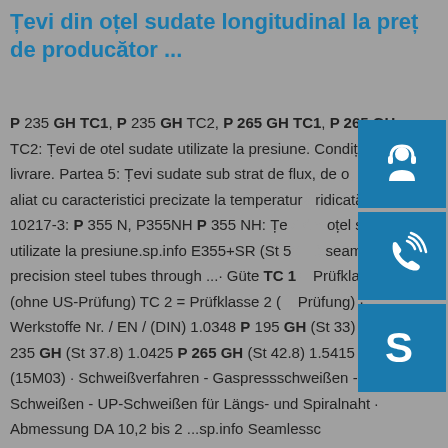Țevi din oțel sudate longitudinal la preț de producător ...
P 235 GH TC1, P 235 GH TC2, P 265 GH TC1, P 265 GH TC2: Țevi de otel sudate utilizate la presiune. Condiții de livrare. Partea 5: Țevi sudate sub strat de flux, de oțel nealiat și aliat cu caracteristici precizate la temperatura ridicată. EN 10217-3: P 355 N, P355NH P 355 NH: Țevi din oțel sudate utilizate la presiune.sp.info E355+SR (St 52 ...) seamless precision steel tubes through ... · Güte TC 1 = Prüfklasse 1 (ohne US-Prüfung) TC 2 = Prüfklasse 2 (... Prüfung) · Werkstoffe Nr. / EN / (DIN) 1.0348 P 195 GH (St 33) 1.0345 P 235 GH (St 37.8) 1.0425 P 265 GH (St 42.8) 1.5415 16M03 (15M03) · Schweißverfahren - Gaspressschweißen - HFI-Schweißen - UP-Schweißen für Längs- und Spiralnaht · Abmessung DA 10,2 bis 2 ...sp.info Seamlessc
[Figure (illustration): Three blue icon boxes on the right side: top icon shows a customer support headset/person, middle icon shows a phone with signal waves, bottom icon shows a Skype logo]